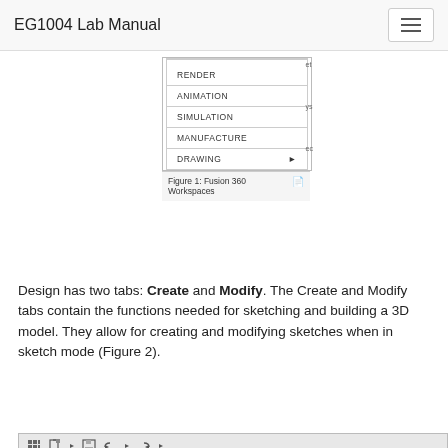EG1004 Lab Manual
[Figure (screenshot): Fusion 360 workspace menu showing items: RENDER, ANIMATION, SIMULATION, MANUFACTURE, DRAWING with an arrow indicator]
Figure 1: Fusion 360 Workspaces
Design has two tabs: Create and Modify. The Create and Modify tabs contain the functions needed for sketching and building a 3D model. They allow for creating and modifying sketches when in sketch mode (Figure 2).
[Figure (screenshot): Fusion 360 toolbar showing SOLID, SURFACE, SHEET METAL tabs with design icons highlighted in red border, and DESIGN label at bottom left]